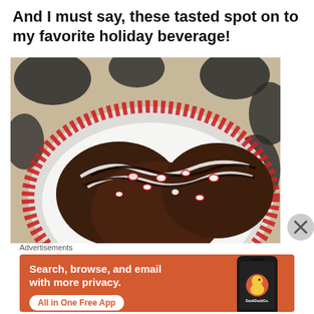And I must say, these tasted spot on to my favorite holiday beverage!
[Figure (photo): Chocolate cookies drizzled with dark and white chocolate, topped with crushed peppermint candy pieces, on a red and white dotted plate with a black and white patterned background.]
Advertisements
[Figure (other): DuckDuckGo advertisement banner: 'Search, browse, and email with more privacy. All in One Free App' with phone graphic and DuckDuckGo logo]